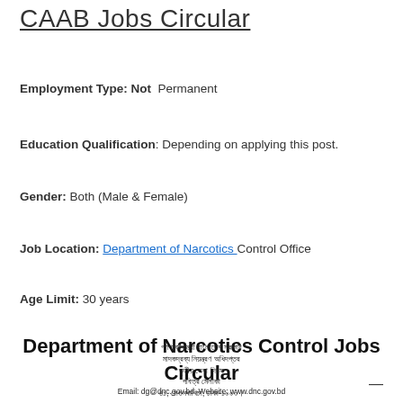CAAB Jobs Circular
Employment Type: Not Permanent
Education Qualification: Depending on applying this post.
Gender: Both (Male & Female)
Job Location: Department of Narcotics Control Office
Age Limit: 30 years
Department of Narcotics Control Jobs Circular
গণপ্রজাতন্ত্রী বাংলাদেশ সরকার মাদকদ্রব্য নিয়ন্ত্রণ অধিদপ্তর তৃতীয় সেবা দিবস পবিত্র মেলাকা ৪১, সেগুনবাগিচা, ঢাকা-১০০০। Email: dg@dnc.gov.bd, Website: www.dnc.gov.bd